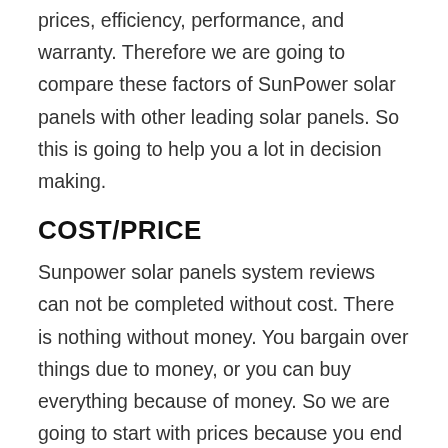prices, efficiency, performance, and warranty. Therefore we are going to compare these factors of SunPower solar panels with other leading solar panels. So this is going to help you a lot in decision making.
COST/PRICE
Sunpower solar panels system reviews can not be completed without cost. There is nothing without money. You bargain over things due to money, or you can buy everything because of money. So we are going to start with prices because you end up buying or not buying because of money. So if you compare the prices of SunPower solar panels with other companies, you would price higher. The price difference is not that vast, but yes, they are more